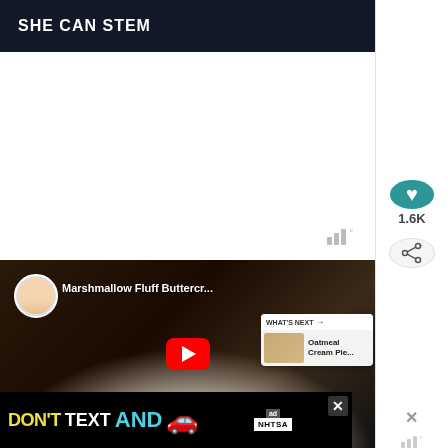[Figure (screenshot): SHE CAN STEM header banner on dark navy/black background with white bold text]
[Figure (screenshot): White content area with bar/signal watermark icon in bottom right]
[Figure (screenshot): Embedded YouTube video player showing Marshmallow Fluff Buttercream video with female presenter avatar, play button, and WHAT'S NEXT panel showing Oatmeal Cream Pie thumbnail]
[Figure (screenshot): NHTSA advertisement banner: DON'T TEXT AND [car emoji] in yellow, white, and cyan on black background with ad badge and close button]
[Figure (screenshot): Right side panel with teal heart/like button showing 1.6K count, share button, and close X button with bar watermark]